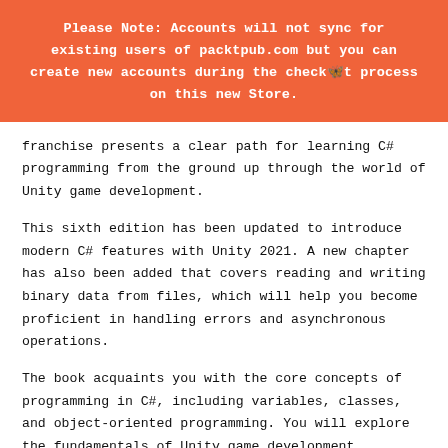Please Note: Accounts will not sync for existing users of packtpub.com but you can create new accounts during the checkout process on this new Store.
franchise presents a clear path for learning C# programming from the ground up through the world of Unity game development.
This sixth edition has been updated to introduce modern C# features with Unity 2021. A new chapter has also been added that covers reading and writing binary data from files, which will help you become proficient in handling errors and asynchronous operations.
The book acquaints you with the core concepts of programming in C#, including variables, classes, and object-oriented programming. You will explore the fundamentals of Unity game development, including game design, lighting basics, player movement, camera controls, and collisions. You will write C#